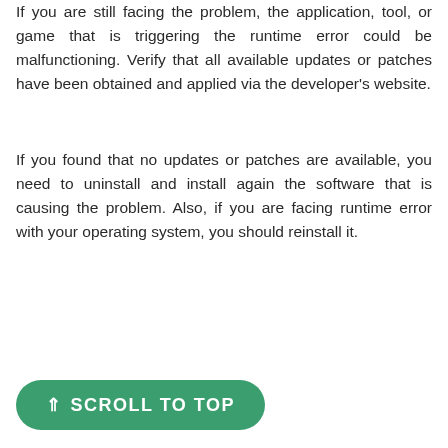If you are still facing the problem, the application, tool, or game that is triggering the runtime error could be malfunctioning. Verify that all available updates or patches have been obtained and applied via the developer's website.
If you found that no updates or patches are available, you need to uninstall and install again the software that is causing the problem. Also, if you are facing runtime error with your operating system, you should reinstall it.
⇑ SCROLL TO TOP